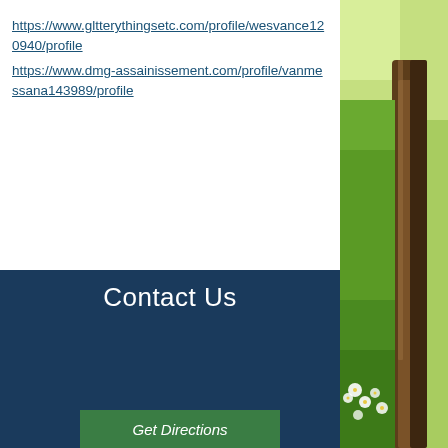https://www.gltterythingsetc.com/profile/wesvance120940/profile
https://www.dmg-assainissement.com/profile/vanmessana143989/profile
Contact Us
[Figure (photo): Nature photo showing green grass, white flowers, and a tree trunk on the right side of the page]
Get Directions